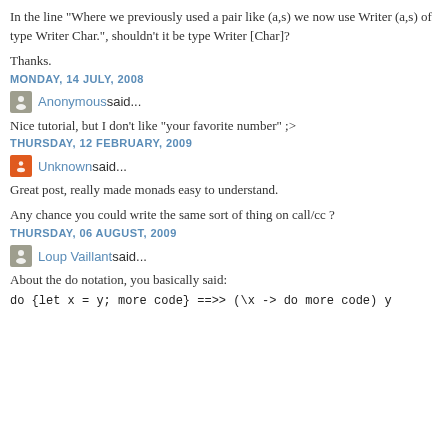In the line "Where we previously used a pair like (a,s) we now use Writer (a,s) of type Writer Char.", shouldn't it be type Writer [Char]?
Thanks.
MONDAY, 14 JULY, 2008
Anonymous said...
Nice tutorial, but I don't like "your favorite number" ;>
THURSDAY, 12 FEBRUARY, 2009
Unknown said...
Great post, really made monads easy to understand.
Any chance you could write the same sort of thing on call/cc ?
THURSDAY, 06 AUGUST, 2009
Loup Vaillant said...
About the do notation, you basically said:
do {let x = y; more code} ==>> (\x -> do more code) y